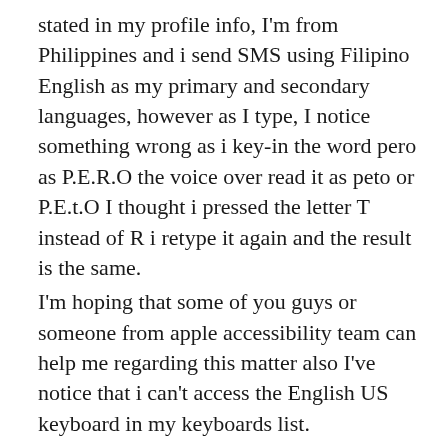stated in my profile info, I'm from Philippines and i send SMS using Filipino English as my primary and secondary languages, however as I type, I notice something wrong as i key-in the word pero as P.E.R.O the voice over read it as peto or P.E.t.O I thought i pressed the letter T instead of R i retype it again and the result is the same.
I'm hoping that some of you guys or someone from apple accessibility team can help me regarding this matter also I've notice that i can't access the English US keyboard in my keyboards list.
Another thing that i notice is when you type Para or P.A.R.A the VO or Voiceover read it as pata or P.A.T.A. Again looking forward to hear some valuable comments from you guys. Thank you very much and more power.